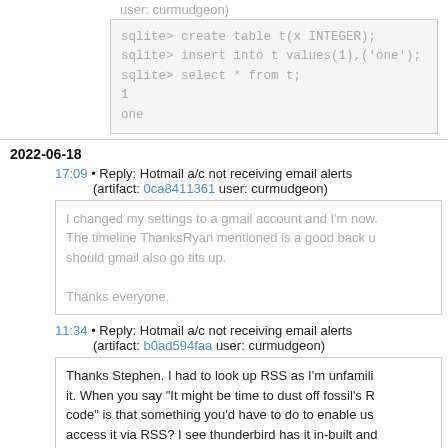user: curmudgeon)
[Figure (screenshot): Code block showing SQLite commands: create table t(x INTEGER); insert into t values(1),('one'); select * from t; with output: 1, one]
2022-06-18
17:09 • Reply: Hotmail a/c not receiving email alerts (artifact: 0ca8411361 user: curmudgeon)
I changed my settings to a gmail account and I'm now. The timeline ThanksRyan mentioned is a good back u should gmail also go tits up.

Thanks everyone.
11:34 • Reply: Hotmail a/c not receiving email alerts (artifact: b0ad594faa user: curmudgeon)
Thanks Stephen. I had to look up RSS as I'm unfamili it. When you say "It might be time to dust off fossil's R code" is that something you'd have to do to enable us access it via RSS? I see thunderbird has it in-built and have thunderbird installed.